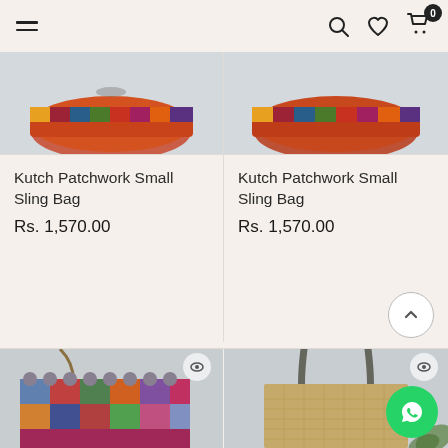Navigation header with hamburger menu, search, wishlist, and cart icons
[Figure (photo): Kutch patchwork small sling bag product image (cropped top portion), left column]
[Figure (photo): Kutch patchwork small sling bag product image (cropped top portion), right column]
Kutch Patchwork Small Sling Bag
Rs. 1,570.00
Kutch Patchwork Small Sling Bag
Rs. 1,570.00
[Figure (photo): Colorful Kutch patchwork embroidered bag with chain strap, bottom left]
[Figure (photo): Jute tote bag with dark printed handles, bottom right]
[Figure (logo): WhatsApp floating action button]